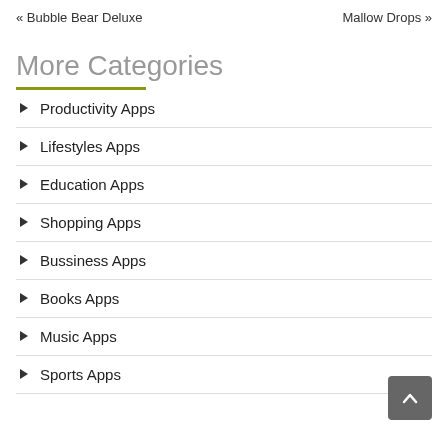« Bubble Bear Deluxe    Mallow Drops »
More Categories
Productivity Apps
Lifestyles Apps
Education Apps
Shopping Apps
Bussiness Apps
Books Apps
Music Apps
Sports Apps